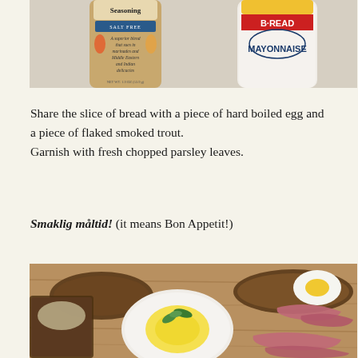[Figure (photo): Top portion of photo showing two condiment jars: a spice jar labeled 'Seasoning Salt Free' with description text about marinades and Middle Eastern and Indian delicacies, and a jar labeled 'Mayonnaise' with yellow/red branding.]
Share the slice of bread with a piece of hard boiled egg and a piece of flaked smoked trout.
Garnish with fresh chopped parsley leaves.
Smaklig måltid! (it means Bon Appetit!)
[Figure (photo): Bottom photo showing a food presentation on a wooden board: open-faced sandwiches on dark bread, a halved hard boiled egg with yellow yolk garnished with mint leaves, and pieces of smoked trout.]